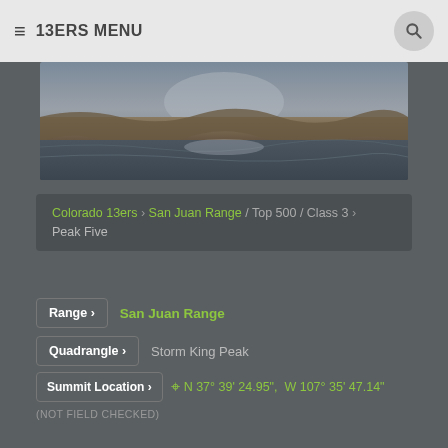≡ 13ERS MENU
[Figure (photo): Mountain landscape photo showing rocky terrain with water reflection]
Colorado 13ers › San Juan Range / Top 500 / Class 3 › Peak Five
Range › San Juan Range
Quadrangle › Storm King Peak
Summit Location › N 37° 39' 24.95", W 107° 35' 47.14"
(NOT FIELD CHECKED)
Neighboring Peaks › Jagged Mountain, ""Sceptor"", Leviathan Peak, Vallecito Mountain, Peak Four
Peak Summary